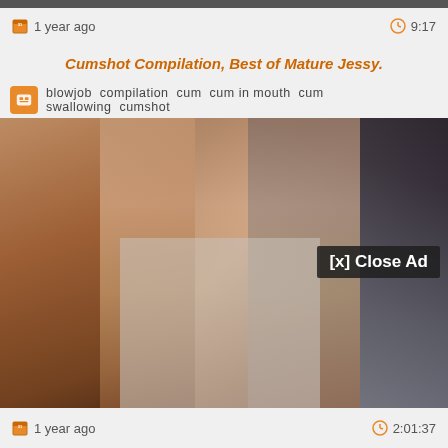1 year ago   9:17
Cumshot Compilation, Best of Mature Jessy.
blowjob  compilation  cum  cum in mouth  cum swallowing  cumshot
[Figure (screenshot): Video player showing adult content with a semi-transparent ad overlay and a [x] Close Ad button in the upper right of the video area]
1 year ago   2:01:37